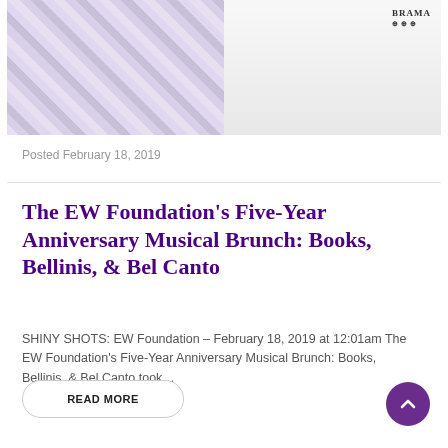[Figure (photo): Two women posing at an event with a BRAMA BMW sponsor logo visible in the upper right corner]
Posted February 18, 2019
The EW Foundation’s Five-Year Anniversary Musical Brunch: Books, Bellinis, & Bel Canto
SHINY SHOTS: EW Foundation – February 18, 2019 at 12:01am The EW Foundation’s Five-Year Anniversary Musical Brunch: Books, Bellinis, & Bel Canto took…
READ MORE